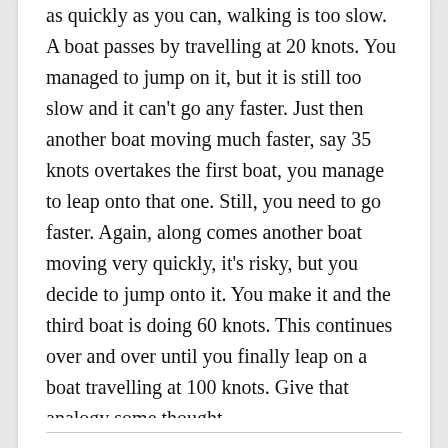as quickly as you can, walking is too slow. A boat passes by travelling at 20 knots. You managed to jump on it, but it is still too slow and it can't go any faster. Just then another boat moving much faster, say 35 knots overtakes the first boat, you manage to leap onto that one. Still, you need to go faster. Again, along comes another boat moving very quickly, it's risky, but you decide to jump onto it. You make it and the third boat is doing 60 knots. This continues over and over until you finally leap on a boat travelling at 100 knots. Give that analogy some thought....